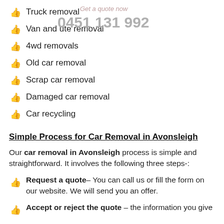Truck removal
Van and ute removal
4wd removals
Old car removal
Scrap car removal
Damaged car removal
Car recycling
Simple Process for Car Removal in Avonsleigh
Our car removal in Avonsleigh process is simple and straightforward. It involves the following three steps-:
Request a quote– You can call us or fill the form on our website. We will send you an offer.
Accept or reject the quote – the information you give